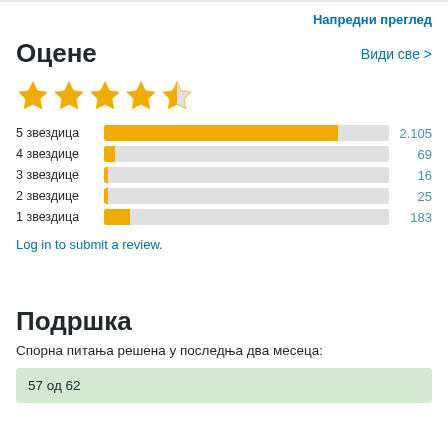Напредни преглед
Оцене
[Figure (other): 4.5 out of 5 stars rating display with 4 full golden stars and 1 half star]
[Figure (bar-chart): Rating distribution]
Log in to submit a review.
Подршка
Спорна питања решена у последња два месеца:
57 од 62